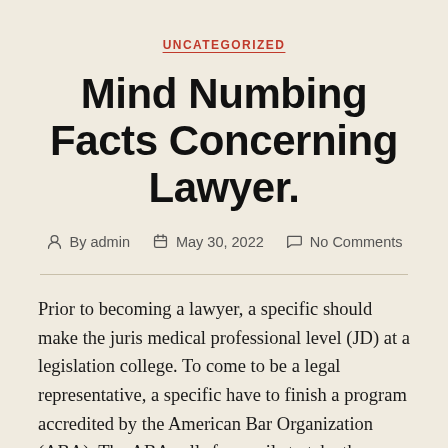UNCATEGORIZED
Mind Numbing Facts Concerning Lawyer.
By admin   May 30, 2022   No Comments
Prior to becoming a lawyer, a specific should make the juris medical professional level (JD) at a legislation college. To come to be a legal representative, a specific have to finish a program accredited by the American Bar Organization (ABA). The ABA calls for pupils to take the Legislation College Admission Examination (LSAT), which determines their fondness for regulation. Trainees might acquire practical experience during their